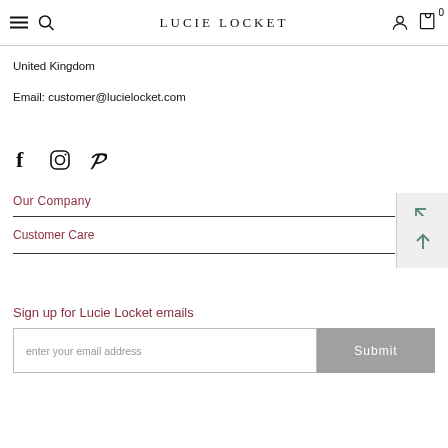LUCIE LOCKET
United Kingdom
Email: customer@lucielocket.com
[Figure (illustration): Social media icons: Facebook (f), Instagram (camera), Pinterest (p)]
Our Company
Customer Care
Sign up for Lucie Locket emails
enter your email address
Submit